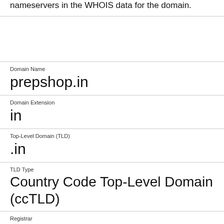nameservers in the WHOIS data for the domain.
Domain Name
prepshop.in
Domain Extension
in
Top-Level Domain (TLD)
.in
TLD Type
Country Code Top-Level Domain (ccTLD)
Registrar
GoDaddy.com, LLC